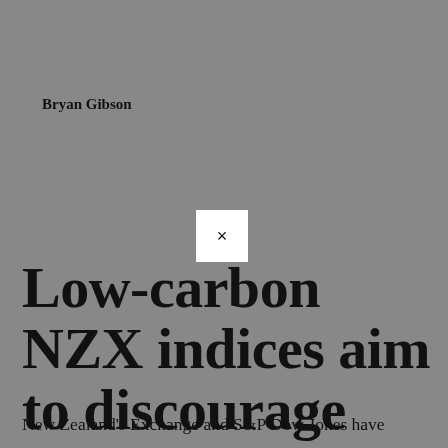Bryan Gibson
[Figure (other): Small white square with an X close button symbol]
Low-carbon NZX indices aim to discourage emissions
New Zealand's Exchange and S&P Dow Jones have